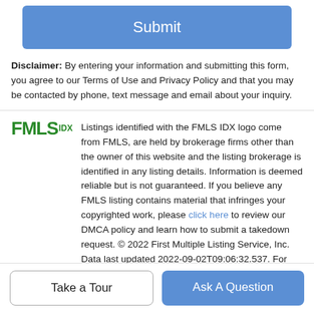Submit
Disclaimer: By entering your information and submitting this form, you agree to our Terms of Use and Privacy Policy and that you may be contacted by phone, text message and email about your inquiry.
[Figure (logo): FMLS IDX logo — green bold FMLS text with IDX superscript]
Listings identified with the FMLS IDX logo come from FMLS, are held by brokerage firms other than the owner of this website and the listing brokerage is identified in any listing details. Information is deemed reliable but is not guaranteed. If you believe any FMLS listing contains material that infringes your copyrighted work, please click here to review our DMCA policy and learn how to submit a takedown request. © 2022 First Multiple Listing Service, Inc. Data last updated 2022-09-02T09:06:32.537. For issues regarding this website, please contact BoomTown.
Take a Tour
Ask A Question